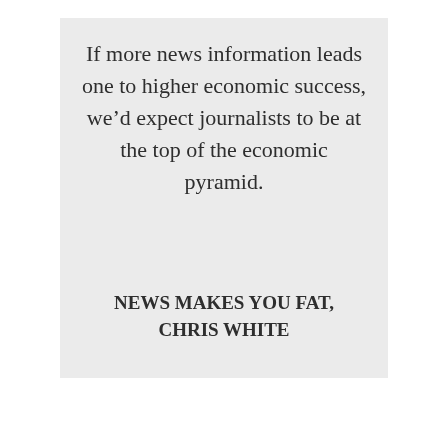If more news information leads one to higher economic success, we’d expect journalists to be at the top of the economic pyramid.
NEWS MAKES YOU FAT, CHRIS WHITE